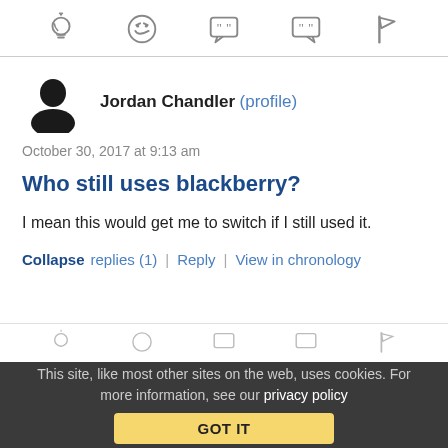[Figure (other): Top icon toolbar with five icons: lightbulb, laughing emoji, speech bubble with quotes, speech bubble with quote mark, and flag]
Jordan Chandler (profile)
October 30, 2017 at 9:13 am
Who still uses blackberry?
I mean this would get me to switch if I still used it.
Collapse replies (1) | Reply | View in chronology
[Figure (other): Partial second icon toolbar (cut off at bottom)]
This site, like most other sites on the web, uses cookies. For more information, see our privacy policy
GOT IT